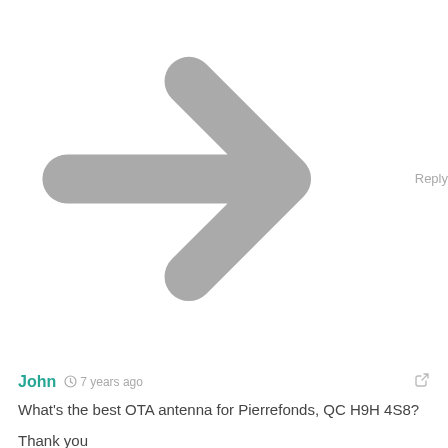Reply
John  7 years ago
What's the best OTA antenna for Pierrefonds, QC H9H 4S8?

Thank you
Reply
M Trottier  8 years ago
Its better if you have a professional who has a Digital OTA spectrum analyzer do a signal strength test before installation on your roof.
The signal strength, Gain and BER (Bit error rate) VARIES significantly from one roof top location to another.

Here is another one of my articles about Off the air HDTV.
http://coolopolis.blogspot.ca/2013/04/antenna-expert-explains-how-to-get-free.html

Mario